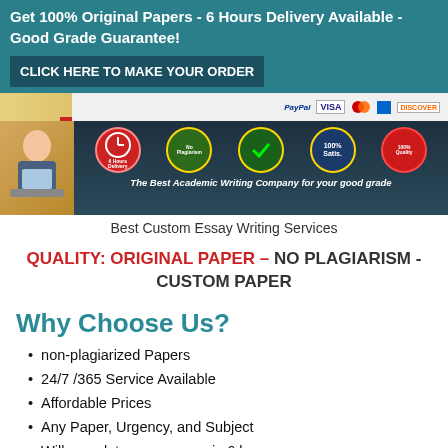Get 100% Original Papers - 6 Hours Delivery Available - Good Grade Guarantee! CLICK HERE TO MAKE YOUR ORDER
[Figure (illustration): Academic writing service advertisement banner with payment logos (PayPal, Visa, Mastercard, Discover) and badges for 6 Hours Delivery Available, No Plagiarism, Money Back Guarantee, 100% Satisfaction, Quality Guarantee. Tagline: The Best Academic Writing Company for your good grade.]
Best Custom Essay Writing Services
QUALITY: ORIGINAL PAPER – NO PLAGIARISM - CUSTOM PAPER
Why Choose Us?
non-plagiarized Papers
24/7 /365 Service Available
Affordable Prices
Any Paper, Urgency, and Subject
Will complete your papers in 6 hours